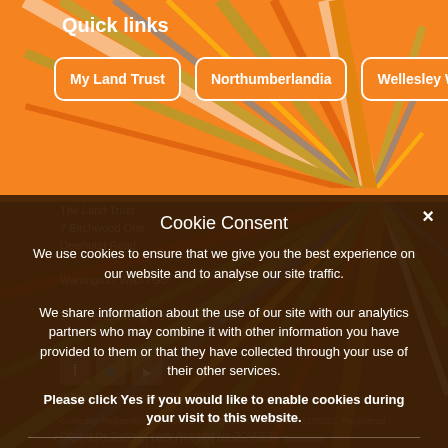Quick links
My Land Trust
Northumberlandia
Wellesley Woodlands
Cookie Consent
We use cookies to ensure that we give you the best experience on our website and to analyse our site traffic.
We share information about the use of our site with our analytics partners who may combine it with other information you have provided to them or that they have collected through your use of their other services.
Please click Yes if you would like to enable cookies during your visit to this website.
Yes   No   Read more
The Land Trust
7 Birchwood One
Dewhurst Road
Warrington, WA3 7GB
Email: enquiries@thelandtrust.org.uk
© The Land Restoration Trust 2022
Company Registration No. 5077263. Registered Charity No. 1108357. Registered Office of the Scottish Charity Regulator No. SC043833
Copyright | Contact us | T&Cs | Privacy | Modern Slavery Statement